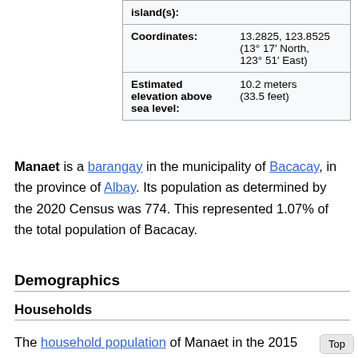| island(s): |  |
| Coordinates: | 13.2825, 123.8525
(13° 17′ North, 123° 51′ East) |
| Estimated elevation above sea level: | 10.2 meters
(33.5 feet) |
Manaet is a barangay in the municipality of Bacacay, in the province of Albay. Its population as determined by the 2020 Census was 774. This represented 1.07% of the total population of Bacacay.
Demographics
Households
The household population of Manaet in the 2015 Census